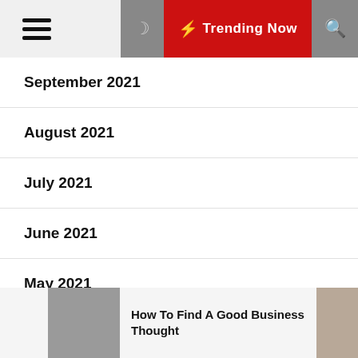Trending Now
September 2021
August 2021
July 2021
June 2021
May 2021
April 2021
March 2021
How To Find A Good Business Thought